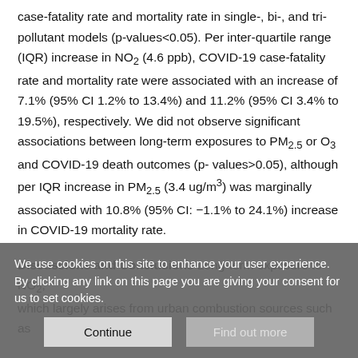case-fatality rate and mortality rate in single-, bi-, and tri-pollutant models (p-values<0.05). Per inter-quartile range (IQR) increase in NO₂ (4.6 ppb), COVID-19 case-fatality rate and mortality rate were associated with an increase of 7.1% (95% CI 1.2% to 13.4%) and 11.2% (95% CI 3.4% to 19.5%), respectively. We did not observe significant associations between long-term exposures to PM₂.₅ or O₃ and COVID-19 death outcomes (p-values>0.05), although per IQR increase in PM₂.₅ (3.4 ug/m³) was marginally associated with 10.8% (95% CI: −1.1% to 24.1%) increase in COVID-19 mortality rate.
Discussions and Conclusions
Long-term exposure to NO₂, which largely arises from urban combustion sources such as
We use cookies on this site to enhance your user experience. By clicking any link on this page you are giving your consent for us to set cookies.